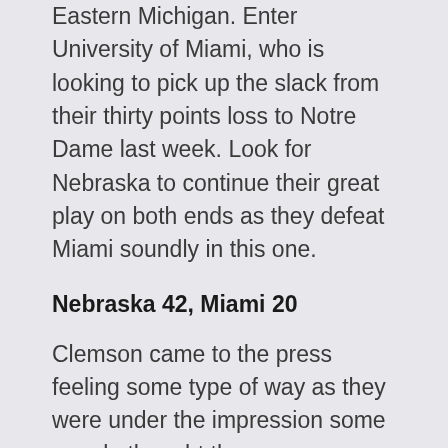Eastern Michigan. Enter University of Miami, who is looking to pick up the slack from their thirty points loss to Notre Dame last week. Look for Nebraska to continue their great play on both ends as they defeat Miami soundly in this one.
Nebraska 42, Miami 20
Clemson came to the press feeling some type of way as they were under the impression some people thought they were underdogs in their week one matchup versus Texas. It obviously showed as the Tigers came in with complete confidence, pulling away with a win 48-32. While Alabama started firing on all cylinders towards the end of the game against Oregon, they couldn't prevail as they lost on a game winning Hail Mary with triple zeroes on the clock! Expect